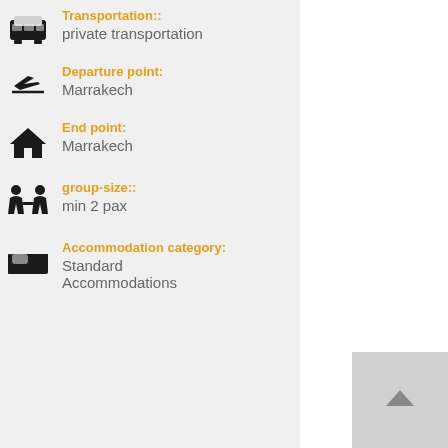Transportation:: private transportation
Departure point: Marrakech
End point: Marrakech
group-size:: min 2 pax
Accommodation category: Standard Accommodations